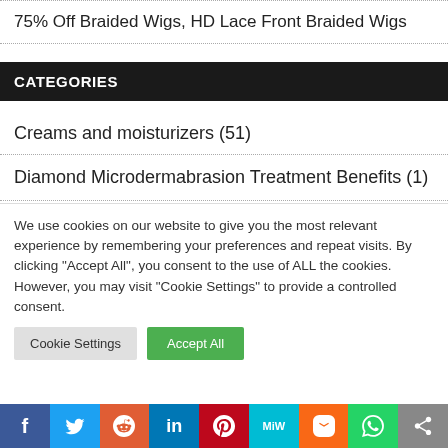75% Off Braided Wigs, HD Lace Front Braided Wigs
CATEGORIES
Creams and moisturizers (51)
Diamond Microdermabrasion Treatment Benefits (1)
We use cookies on our website to give you the most relevant experience by remembering your preferences and repeat visits. By clicking "Accept All", you consent to the use of ALL the cookies. However, you may visit "Cookie Settings" to provide a controlled consent.
f | Twitter | Reddit | in | p | MiW | mix | WhatsApp | share